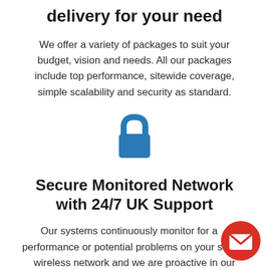delivery for your need
We offer a variety of packages to suit your budget, vision and needs. All our packages include top performance, sitewide coverage, simple scalability and security as standard.
[Figure (illustration): Blue padlock icon representing security]
Secure Monitored Network with 24/7 UK Support
Our systems continuously monitor for any performance or potential problems on your school wireless network and we are proactive in our support approach, diagnosing and correcting any issue before
[Figure (illustration): Red circular button with white envelope/mail icon]